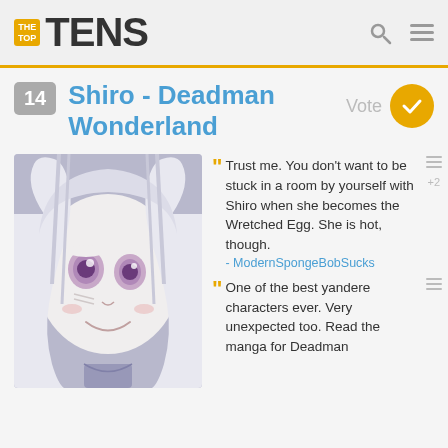THE TOP TENS
14 Shiro - Deadman Wonderland
[Figure (illustration): Anime illustration of Shiro from Deadman Wonderland, close-up of face with white hair and pink eyes, smiling]
Trust me. You don't want to be stuck in a room by yourself with Shiro when she becomes the Wretched Egg. She is hot, though. - ModernSpongeBobSucks
One of the best yandere characters ever. Very unexpected too. Read the manga for Deadman